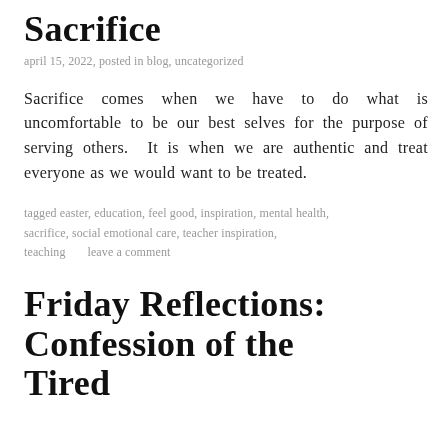Sacrifice
april 15, 2022, posted in blog, uncategorized
Sacrifice comes when we have to do what is uncomfortable to be our best selves for the purpose of serving others.  It is when we are authentic and treat everyone as we would want to be treated.
tagged easter, education, feel good, inspiration, mental health, sacrifice, social emotional care, teacher inspiration, teaching      leave a comment
Friday Reflections: Confession of the Tired